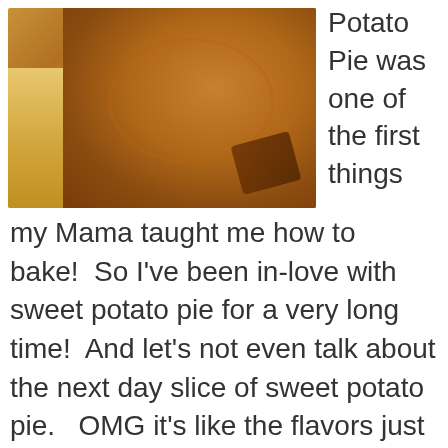[Figure (photo): Close-up photo of a sweet potato pie with golden-brown crust visible on the left side and a rich orange-brown filling, with a chunk missing from the pie]
Potato Pie was one of the first things my Mama taught me how to bake!  So I've been in-love with sweet potato pie for a very long time!  And let's not even talk about the next day slice of sweet potato pie.   OMG it's like the flavors just have time to settle and, well um.... just um well...turn into pure goodness!! After I made this one for pictures and posting, I
... [Read more...]